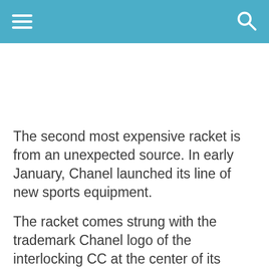Navigation header with hamburger menu and search icon
The second most expensive racket is from an unexpected source. In early January, Chanel launched its line of new sports equipment.

The racket comes strung with the trademark Chanel logo of the interlocking CC at the center of its head. The racket comes with an elegant black Chanel racket bag with a shoulder strap. It is no secret that any Chanel product doesn't come cheap, so if you